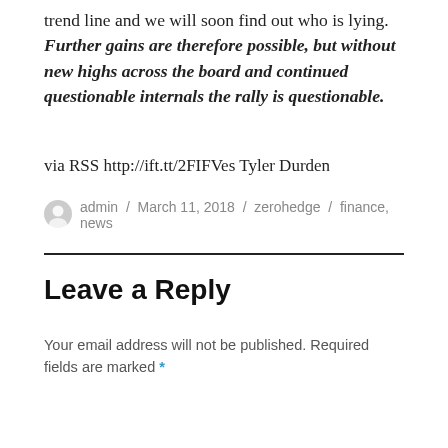trend line and we will soon find out who is lying. Further gains are therefore possible, but without new highs across the board and continued questionable internals the rally is questionable.
via RSS http://ift.tt/2FIFVes Tyler Durden
admin / March 11, 2018 / zerohedge / finance, news
Leave a Reply
Your email address will not be published. Required fields are marked *